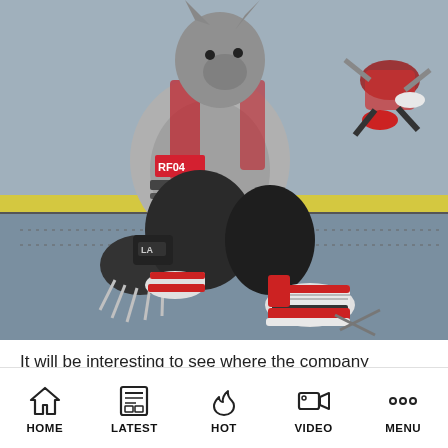[Figure (screenshot): A 3D rendered video game character crouching on a gray floor. The character wears a gray and red hoodie, black armored gloves with claws, black pants, and white/red sneakers. The character has a wolf or dog-like head. In the upper right corner, there appears to be another character falling or lying down. The setting looks like an industrial or sports training facility with a yellow stripe visible in the background.]
It will be interesting to see where the company
HOME   LATEST   HOT   VIDEO   MENU